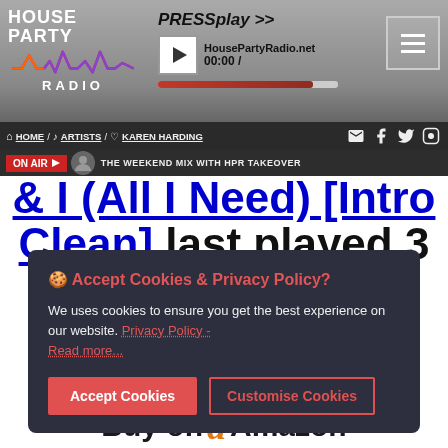House Party Radio - PRESsplay >> HousePartyRadio.net 00:00 /
HOME / ARTISTS / KAREN HARDING
ON AIR ▶ THE WEEKEND MIX WITH HPR TAKEOVER
& I (All I Need) [Intro Clean] last played 3
🍪 Accept Cookies & Privacy Policy?

We uses cookies to ensure you get the best experience on our website. Privacy Policy - Read more...
Buy on Amazon